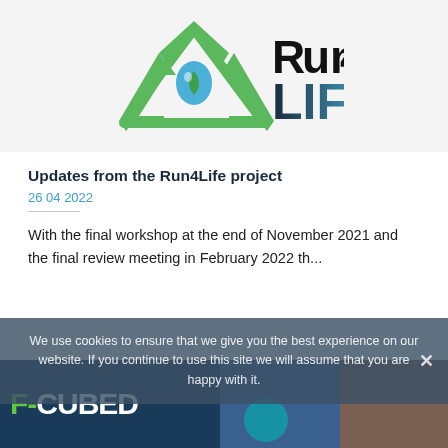[Figure (logo): Run4Life project logo with green recycling triangle arrows, blue water drop with leaf, and text 'Run4Life' in black and blue gradient]
Updates from the Run4Life project
26 04 2022
With the final workshop at the end of November 2021 and the final review meeting in February 2022 th...
We use cookies to ensure that we give you the best experience on our website. If you continue to use this site we will assume that you are happy with it.
[Figure (screenshot): Bottom banner showing F-CUBED text in green and white on dark blue background, with photo thumbnails on the right side]